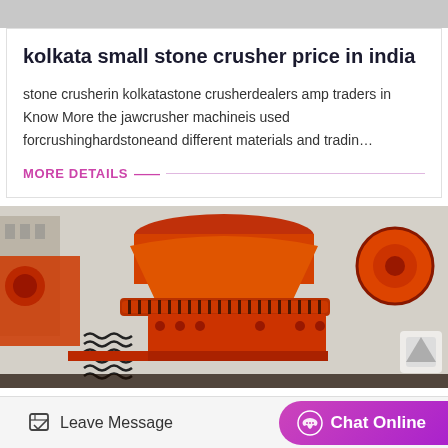kolkata small stone crusher price in india
stone crusherin kolkatastone crusherdealers amp traders in Know More the jawcrusher machineis used forcrushinghardstoneand different materials and tradin…
MORE DETAILS
[Figure (photo): Close-up photograph of a large orange industrial cone/stone crusher machine outdoors]
Leave Message   Chat Online